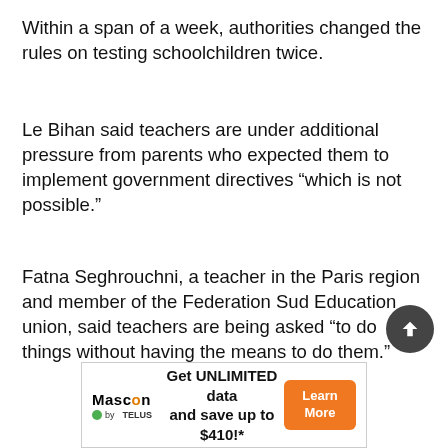Within a span of a week, authorities changed the rules on testing schoolchildren twice.
Le Bihan said teachers are under additional pressure from parents who expected them to implement government directives “which is not possible.”
Fatna Seghrouchni, a teacher in the Paris region and member of the Federation Sud Education union, said teachers are being asked “to do things without having the means to do them.”
Like many other protesters, Seghrouchni’s anger was directed at Education Minister Jean-Michel Blanquer who
[Figure (other): Advertisement banner for Mascon by TELUS: Get UNLIMITED data and save up to $410!* with a Learn More button]